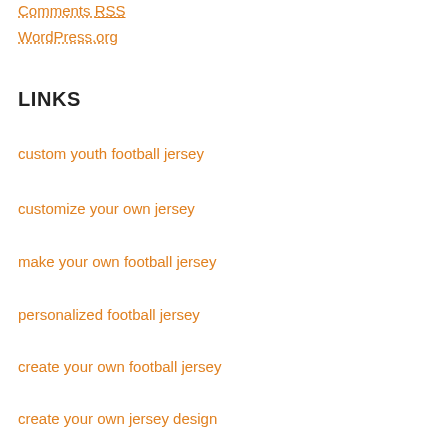Comments RSS
WordPress.org
LINKS
custom youth football jersey
customize your own jersey
make your own football jersey
personalized football jersey
create your own football jersey
create your own jersey design